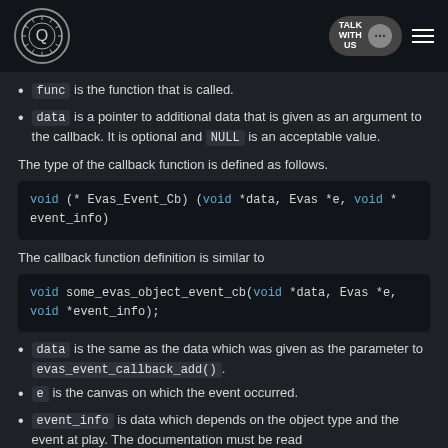TALK WITH US [logo] [menu]
func is the function that is called.
data is a pointer to additional data that is given as an argument to the callback. It is optional and NULL is an acceptable value.
The type of the callback function is defined as follows.
The callback function definition is similar to
data is the same as the data which was given as the parameter to evas_event_callback_add().
e is the canvas on which the event occurred.
event_info is data which depends on the object type and the event at play. The documentation must be read